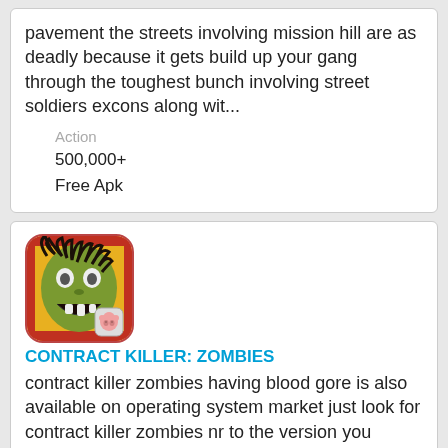pavement the streets involving mission hill are as deadly because it gets build up your gang through the toughest bunch involving street soldiers excons along wit...
Action
500,000+
Free Apk
[Figure (illustration): App icon for Contract Killer: Zombies showing a zombie face with green skin and dark hair on a yellow/red background, with a small pig/face icon in the corner]
CONTRACT KILLER: ZOMBIES
contract killer zombies having blood gore is also available on operating system market just look for contract killer zombies nr to the version you include killed more criminals than you are able to co...
Action